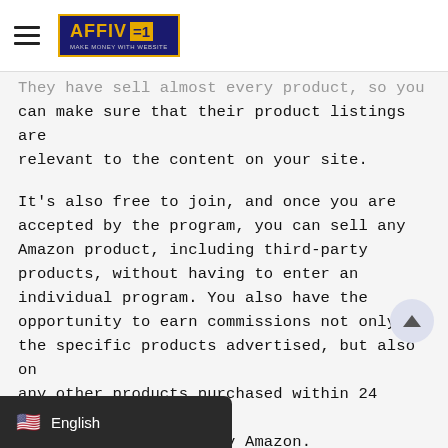AFFIV =1 (logo) — Make Money With Website
They have sell almost every product, so you can make sure that their product listings are relevant to the content on your site.
It's also free to join, and once you are accepted by the program, you can sell any Amazon product, including third-party products, without having to enter an individual program. You also have the opportunity to earn commissions not only on the specific products advertised, but also on any other products purchased within 24 hours of being recommended by Amazon.
You can continue reading this article: 13 ways to earn passive income online in 2021, even be fully automated to earn ou